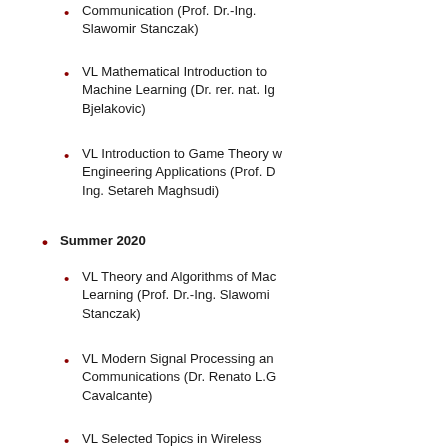VL Fundamentals of Digital Wireless Communication (Prof. Dr.-Ing. Slawomir Stanczak)
VL Mathematical Introduction to Machine Learning (Dr. rer. nat. Ig Bjelakovic)
VL Introduction to Game Theory with Engineering Applications (Prof. Dr.-Ing. Setareh Maghsudi)
Summer 2020
VL Theory and Algorithms of Machine Learning (Prof. Dr.-Ing. Slawomir Stanczak)
VL Modern Signal Processing and Communications (Dr. Renato L.G. Cavalcante)
VL Selected Topics in Wireless Communications and Networking Zoran Utkovski)
Winter 2019/20
VL Fundamentals of Digital Wireless Communication (Prof. Dr.-Ing. Slawomir Stanczak)
VL Mathematical Introduction to Machine Learning (Dr. rer. nat. Ig Bjelakovic)